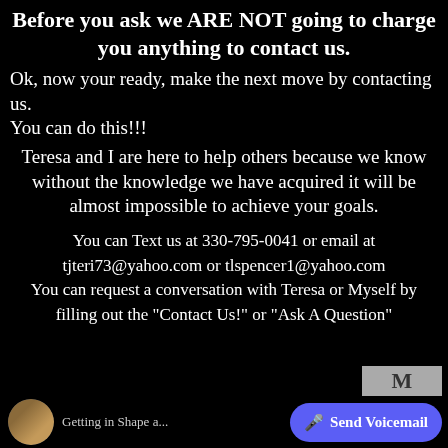Before you ask we ARE NOT going to charge you anything to contact us.
Ok, now your ready, make the next move by contacting us.
You can do this!!!
Teresa and I are here to help others because we know without the knowledge we have acquired it will be almost impossible to achieve your goals.
You can Text us at 330-795-0041 or email at tjteri73@yahoo.com or tlspencer1@yahoo.com You can request a conversation with Teresa or Myself by filling out the "Contact Us!" or "Ask A Question"
[Figure (screenshot): Bottom UI bar with circular avatar image labeled 'Getting in Shape a...', a gray box with letter M, and a purple 'Send Voicemail' button]